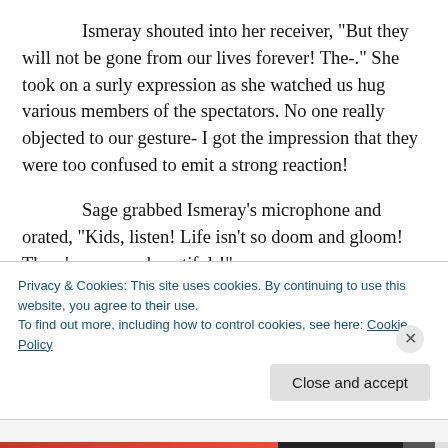Ismeray shouted into her receiver, “But they will not be gone from our lives forever! The-.” She took on a surly expression as she watched us hug various members of the spectators. No one really objected to our gesture- I got the impression that they were too confused to emit a strong reaction!
Sage grabbed Ismeray’s microphone and orated, “Kids, listen! Life isn’t so doom and gloom! There’s so many beautiful-!”
“The speculation is experi— (partially visible, cut off by cookie banner)
Privacy & Cookies: This site uses cookies. By continuing to use this website, you agree to their use.
To find out more, including how to control cookies, see here: Cookie Policy
Close and accept